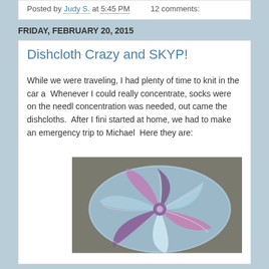Posted by Judy S. at 5:45 PM   12 comments:
FRIDAY, FEBRUARY 20, 2015
Dishcloth Crazy and SKYP!
While we were traveling, I had plenty of time to knit in the car a Whenever I could really concentrate, socks were on the needl concentration was needed, out came the dishcloths. After I fini started at home, we had to make an emergency trip to Michael Here they are:
[Figure (photo): A circular knitted dishcloth in blue, purple, and white variegated yarn with a pinwheel/spiral pattern, photographed on a gray surface.]